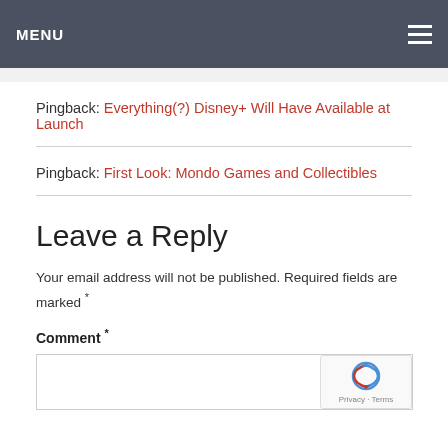MENU
Pingback: Everything(?) Disney+ Will Have Available at Launch
Pingback: First Look: Mondo Games and Collectibles
Leave a Reply
Your email address will not be published. Required fields are marked *
Comment *